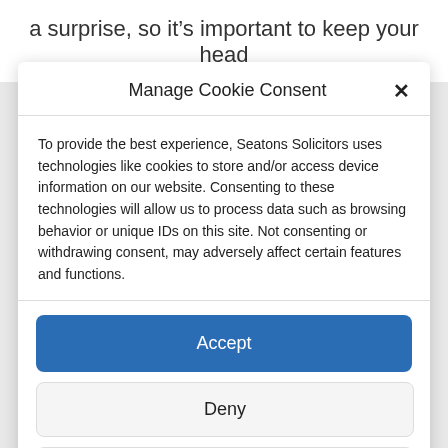a surprise, so it’s important to keep your head
Manage Cookie Consent
To provide the best experience, Seatons Solicitors uses technologies like cookies to store and/or access device information on our website. Consenting to these technologies will allow us to process data such as browsing behavior or unique IDs on this site. Not consenting or withdrawing consent, may adversely affect certain features and functions.
Accept
Deny
View preferences